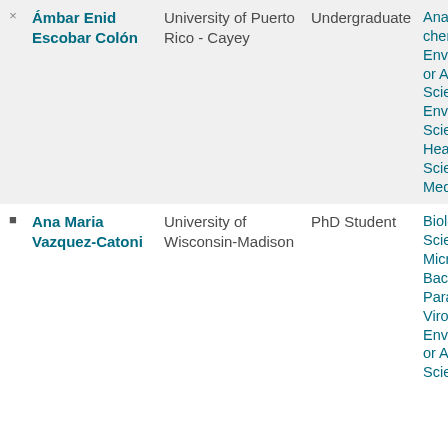|  | Name | University | Level | Fields |
| --- | --- | --- | --- | --- |
| × | Ámbar Enid Escobar Colón | University of Puerto Rico - Cayey | Undergraduate | Analytical chemistry, Environmental or Agricultural Sciences, Environmental Science, Health Sciences, Medicine |
| ■ | Ana Maria Vazquez-Catoni | University of Wisconsin-Madison | PhD Student | Biological Sciences, Microbiology, Bacteriology, Parasitology, Virology, Environmental or Agricultural Sciences |